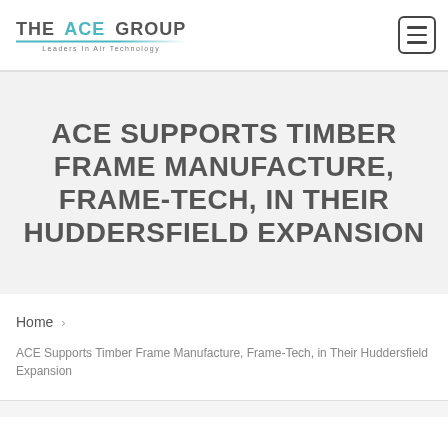[Figure (logo): The ACE Group logo - Leaders In Air Technology]
ACE SUPPORTS TIMBER FRAME MANUFACTURE, FRAME-TECH, IN THEIR HUDDERSFIELD EXPANSION
Home
ACE Supports Timber Frame Manufacture, Frame-Tech, in Their Huddersfield Expansion